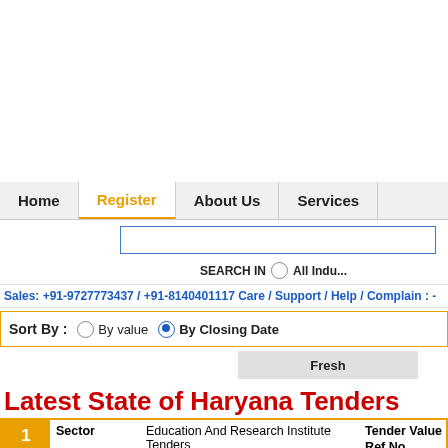Home | Register | About Us | Services
SEARCH IN  All Indu...
Sales: +91-9727773437 / +91-8140401117 Care / Support / Help / Complain : -
Sort By :   By value   By Closing Date
Fresh
Latest State of Haryana Tenders
| # | Sector | Location | Closing Date | Description | Tender Value | Ref.No | Action |
| --- | --- | --- | --- | --- | --- | --- | --- |
| 1 | Education And Research Institute Tenders | Haryana Tenders | 13 - Sep - 2022 | 20 Days to go | Supply of Chemical Filter Papers and Plastic Ware. |  |  | View Tender Details |